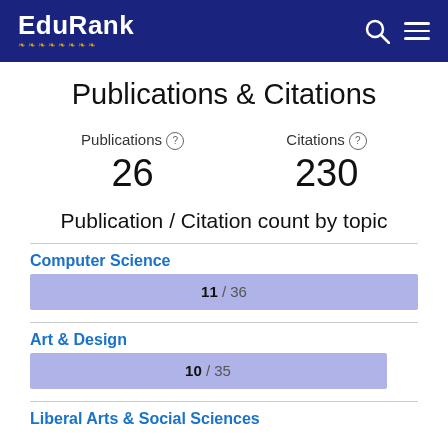EduRank
Publications & Citations
Publications 26
Citations 230
Publication / Citation count by topic
Computer Science
[Figure (bar-chart): Computer Science]
Art & Design
[Figure (bar-chart): Art & Design]
Liberal Arts & Social Sciences